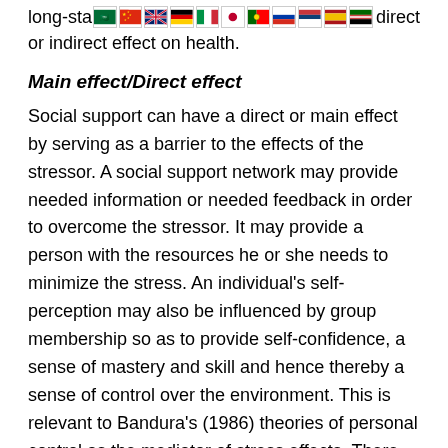long-sta… [flags] …direct or indirect effect on health.
Main effect/Direct effect
Social support can have a direct or main effect by serving as a barrier to the effects of the stressor. A social support network may provide needed information or needed feedback in order to overcome the stressor. It may provide a person with the resources he or she needs to minimize the stress. An individual's self-perception may also be influenced by group membership so as to provide self-confidence, a sense of mastery and skill and hence thereby a sense of control over the environment. This is relevant to Bandura's (1986) theories of personal control as the mediator of stress effects. There appears to be a minimum threshold level of social contact required for good health, and increases in social support above the minimum are less important. If one considers social support as having a direct—or main—effect, then one can create an index by which to measure it (Cohen and Syme